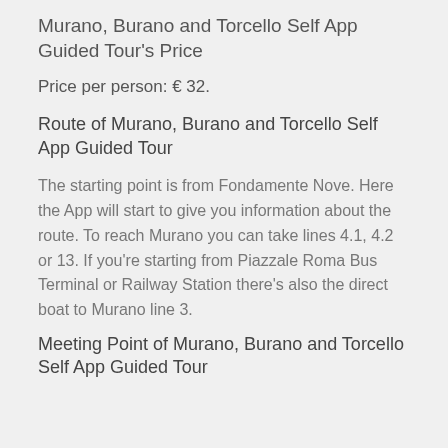Murano, Burano and Torcello Self App Guided Tour's Price
Price per person: € 32.
Route of Murano, Burano and Torcello Self App Guided Tour
The starting point is from Fondamente Nove. Here the App will start to give you information about the route. To reach Murano you can take lines 4.1, 4.2 or 13. If you're starting from Piazzale Roma Bus Terminal or Railway Station there's also the direct boat to Murano line 3.
Meeting Point of Murano, Burano and Torcello Self App Guided Tour